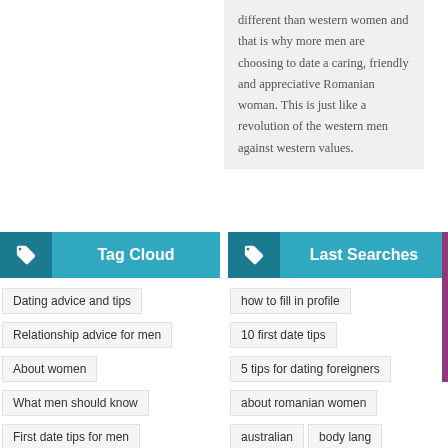different than western women and that is why more men are choosing to date a caring, friendly and appreciative Romanian woman. This is just like a revolution of the western men against western values.
Tag Cloud
Last Searches
Dating advice and tips
Relationship advice for men
About women
What men should know
First date tips for men
Online Dating
how to fill in profile
10 first date tips
5 tips for dating foreigners
about romanian women
australian
body lang
british girls
dating